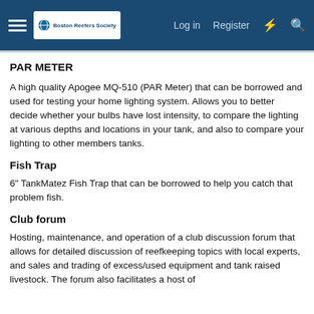Boston Reefers Society — Log in  Register
PAR METER
A high quality Apogee MQ-510 (PAR Meter) that can be borrowed and used for testing your home lighting system. Allows you to better decide whether your bulbs have lost intensity, to compare the lighting at various depths and locations in your tank, and also to compare your lighting to other members tanks.
Fish Trap
6" TankMatez Fish Trap that can be borrowed to help you catch that problem fish.
Club forum
Hosting, maintenance, and operation of a club discussion forum that allows for detailed discussion of reefkeeping topics with local experts, and sales and trading of excess/used equipment and tank raised livestock. The forum also facilitates a host of